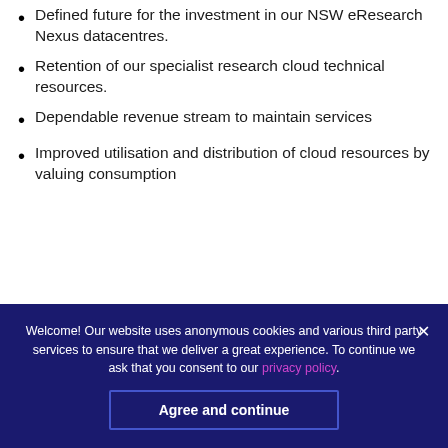Defined future for the investment in our NSW eResearch Nexus datacentres.
Retention of our specialist research cloud technical resources.
Dependable revenue stream to maintain services
Improved utilisation and distribution of cloud resources by valuing consumption
What does this mean for you?
Welcome! Our website uses anonymous cookies and various third party services to ensure that we deliver a great experience. To continue we ask that you consent to our privacy policy.
Agree and continue